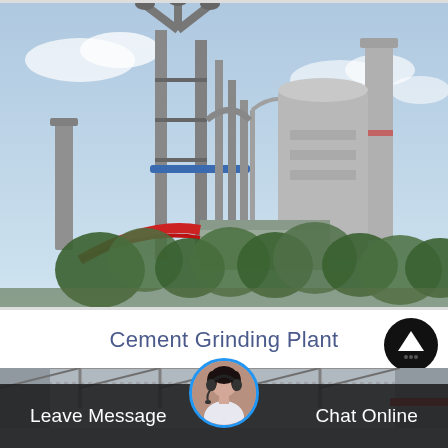[Figure (photo): Aerial view of a cement grinding plant with tall industrial chimneys, silos, conveyor structures, pipes, and surrounding green trees under a partly cloudy sky.]
Cement Grinding Plant
[Figure (photo): Interior of an industrial factory building showing a large open warehouse-like space with a metal roof structure and industrial equipment.]
Leave Message
Chat Online